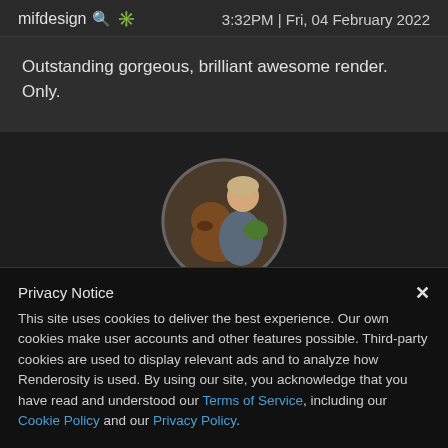mifdesign 🔍 ✳️   3:32PM | Fri, 04 February 2022
Outstanding gorgeous, brilliant awesome render. Only.
[Figure (photo): Circular avatar photo showing a person hugging a large brown dog outdoors]
Privacy Notice ×
This site uses cookies to deliver the best experience. Our own cookies make user accounts and other features possible. Third-party cookies are used to display relevant ads and to analyze how Renderosity is used. By using our site, you acknowledge that you have read and understood our Terms of Service, including our Cookie Policy and our Privacy Policy.